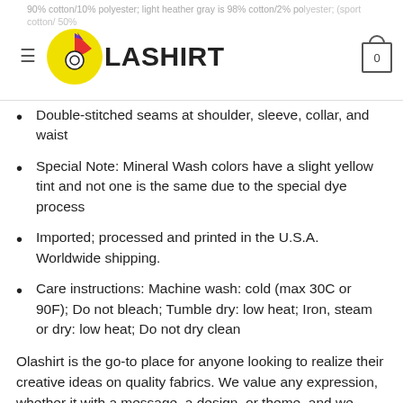90% cotton/10% polyester; light heather gray is 98% cotton/2% polyester; (sport cotton/ 50% polyester) | Fabric Weight: 5.0 oz (mid-weight) | OLASHIRT
Double-stitched seams at shoulder, sleeve, collar, and waist
Special Note: Mineral Wash colors have a slight yellow tint and not one is the same due to the special dye process
Imported; processed and printed in the U.S.A. Worldwide shipping.
Care instructions: Machine wash: cold (max 30C or 90F); Do not bleach; Tumble dry: low heat; Iron, steam or dry: low heat; Do not dry clean
Olashirt is the go-to place for anyone looking to realize their creative ideas on quality fabrics. We value any expression, whether it with a message, a design, or theme, and we believe...